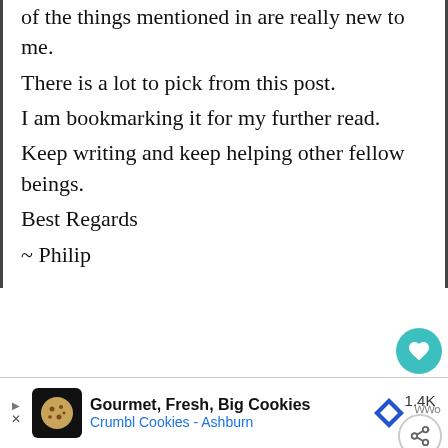of the things mentioned in are really new to me. There is a lot to pick from this post. I am bookmarking it for my further read. Keep writing and keep helping other fellow beings. Best Regards ~ Philip
Swati Chalumuri
May 17, 2019 at 10:03 AM
Having you here, itself is a huge app... I greatly admire your work. Thanks a lot for
[Figure (infographic): WHAT'S NEXT arrow with Blogging Vs Vlogging:... text and parrot illustration]
Gourmet, Fresh, Big Cookies Crumbl Cookies - Ashburn